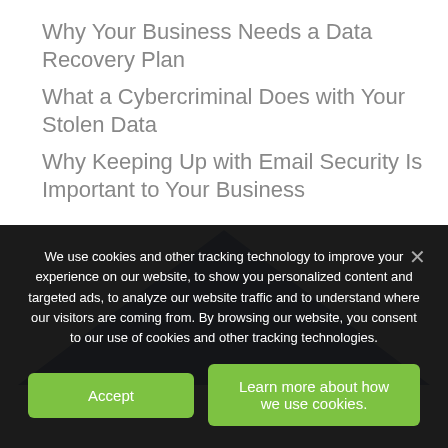Why Your Business Needs a Data Recovery Plan
What a Cybercriminal Does with Your Stolen Data
Why Keeping Up with Email Security Is Important to Your Business
[Figure (illustration): Blue triangle/mountain shape partially visible as decorative background element]
We use cookies and other tracking technology to improve your experience on our website, to show you personalized content and targeted ads, to analyze our website traffic and to understand where our visitors are coming from. By browsing our website, you consent to our use of cookies and other tracking technologies.
Accept
Learn more about how we use cookies.